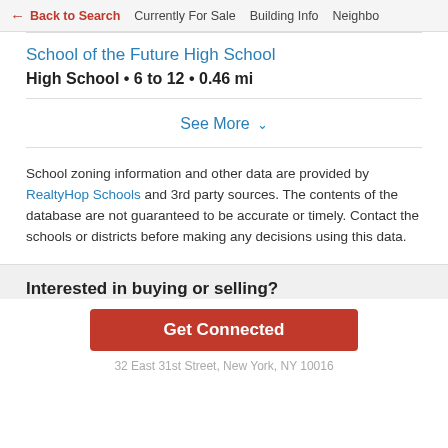← Back to Search   Currently For Sale   Building Info   Neighbo
School of the Future High School
High School • 6 to 12 • 0.46 mi
See More ∨
School zoning information and other data are provided by RealtyHop Schools and 3rd party sources. The contents of the database are not guaranteed to be accurate or timely. Contact the schools or districts before making any decisions using this data.
Interested in buying or selling?
Get Connected
32 East 31st Street, New York, NY 10016